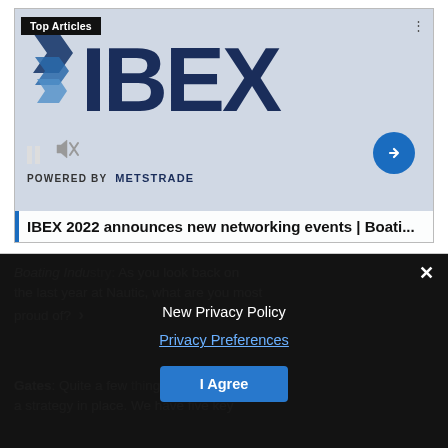[Figure (screenshot): Article card showing IBEX 2022 logo with 'Top Articles' badge, media playback controls (pause and mute), a blue arrow navigation button, 'POWERED BY METSTRADE' text, and article title 'IBEX 2022 announces new networking events | Boati...' with a blue left border.]
Boating Indu[stry:] As you look back on the last year at Nautic, what are you most proud of? › Privacy Preferences
Gates: Quite a few [things] actually. We've put a strategy in place. We have five key